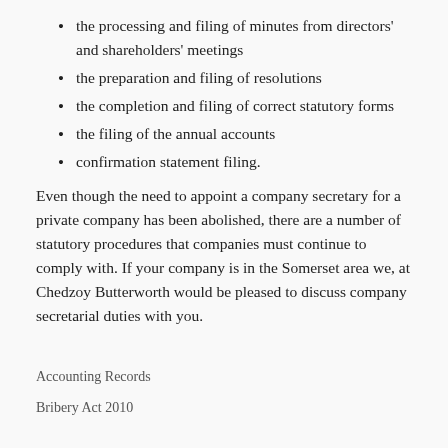the processing and filing of minutes from directors' and shareholders' meetings
the preparation and filing of resolutions
the completion and filing of correct statutory forms
the filing of the annual accounts
confirmation statement filing.
Even though the need to appoint a company secretary for a private company has been abolished, there are a number of statutory procedures that companies must continue to comply with. If your company is in the Somerset area we, at Chedzoy Butterworth would be pleased to discuss company secretarial duties with you.
Accounting Records
Bribery Act 2010